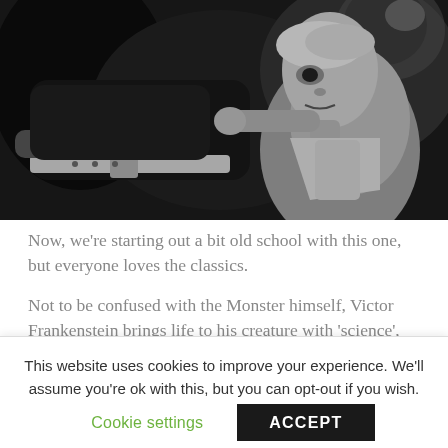[Figure (photo): Black and white photo of a man in a lab coat examining or working on a figure strapped down, reminiscent of a Frankenstein movie scene.]
Now, we're starting out a bit old school with this one, but everyone loves the classics.
Not to be confused with the Monster himself, Victor Frankenstein brings life to his creature with 'science',
This website uses cookies to improve your experience. We'll assume you're ok with this, but you can opt-out if you wish.
Cookie settings
ACCEPT